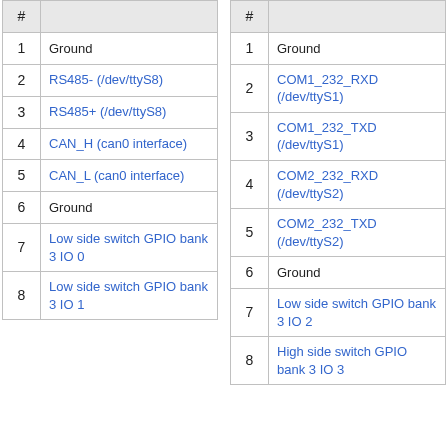| # |  |
| --- | --- |
| 1 | Ground |
| 2 | RS485- (/dev/ttyS8) |
| 3 | RS485+ (/dev/ttyS8) |
| 4 | CAN_H (can0 interface) |
| 5 | CAN_L (can0 interface) |
| 6 | Ground |
| 7 | Low side switch GPIO bank 3 IO 0 |
| 8 | Low side switch GPIO bank 3 IO 1 |
| # |  |
| --- | --- |
| 1 | Ground |
| 2 | COM1_232_RXD (/dev/ttyS1) |
| 3 | COM1_232_TXD (/dev/ttyS1) |
| 4 | COM2_232_RXD (/dev/ttyS2) |
| 5 | COM2_232_TXD (/dev/ttyS2) |
| 6 | Ground |
| 7 | Low side switch GPIO bank 3 IO 2 |
| 8 | High side switch GPIO bank 3 IO 3 |